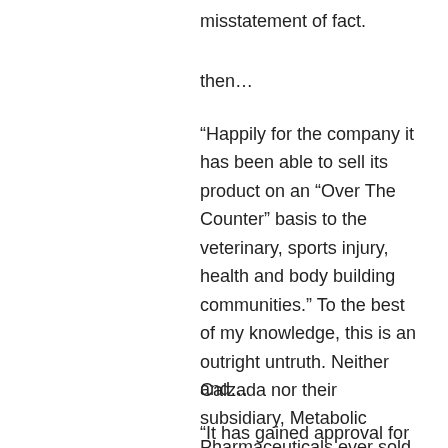misstatement of fact.
then…
“Happily for the company it has been able to sell its product on an “Over The Counter” basis to the veterinary, sports injury, health and body building communities.” To the best of my knowledge, this is an outright untruth. Neither Calzada nor their subsidiary, Metabolic Pharmaceuticals ever sold so much as a microgram of AOD9604 to anyone. They do not manufacture the compound and to not offer it for sale.
and…
“It has gained approval for marketing into the